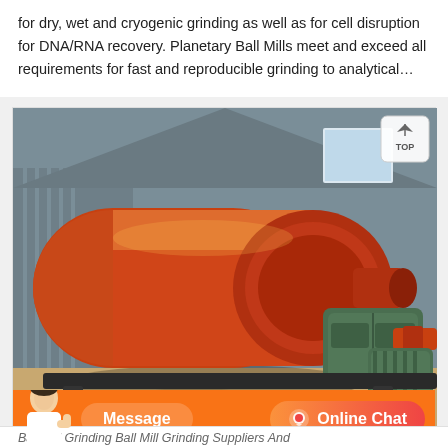for dry, wet and cryogenic grinding as well as for cell disruption for DNA/RNA recovery. Planetary Ball Mills meet and exceed all requirements for fast and reproducible grinding to analytical…
[Figure (photo): Industrial ball mill grinding machine with large orange cylindrical drum, green motor/gearbox assembly, inside a metal-clad warehouse/factory building.]
Ball Mill Grinding Ball Mill Grinding Suppliers And